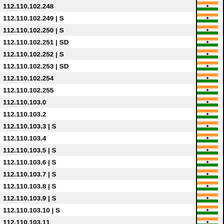| IP Address | Country |
| --- | --- |
| 112.110.102.248 | India |
| 112.110.102.249 | S | India |
| 112.110.102.250 | S | India |
| 112.110.102.251 | SD | India |
| 112.110.102.252 | S | India |
| 112.110.102.253 | SD | India |
| 112.110.102.254 | India |
| 112.110.102.255 | India |
| 112.110.103.0 | India |
| 112.110.103.2 | India |
| 112.110.103.3 | S | India |
| 112.110.103.4 | India |
| 112.110.103.5 | S | India |
| 112.110.103.6 | S | India |
| 112.110.103.7 | S | India |
| 112.110.103.8 | S | India |
| 112.110.103.9 | S | India |
| 112.110.103.10 | S | India |
| 112.110.103.11 | India |
| 112.110.103.12 | S | India |
| 112.110.103.13 | India |
| 112.110.103.14 | India |
| 112.110.103.15 | India |
| 112.110.103.16 | S | India |